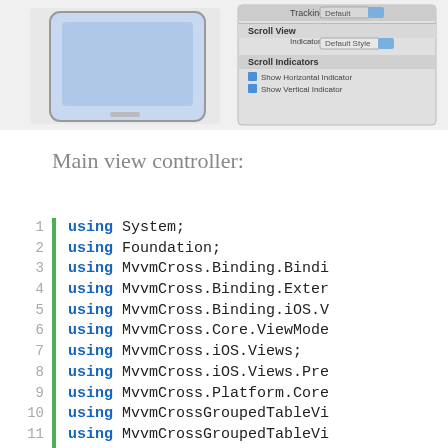[Figure (screenshot): Screenshot showing an iPad UI mockup on the left and an Inspector panel (Scroll View settings with Scroll Indicators) on the right]
Main view controller:
Code block showing C# using directives and namespace declaration:
1  using System;
2  using Foundation;
3  using MvvmCross.Binding.Bindi
4  using MvvmCross.Binding.Exter
5  using MvvmCross.Binding.iOS.V
6  using MvvmCross.Core.ViewMode
7  using MvvmCross.iOS.Views;
8  using MvvmCross.iOS.Views.Pre
9  using MvvmCross.Platform.Core
10 using MvvmCrossGroupedTableVi
11 using MvvmCrossGroupedTableVi
12 using UIKit;
13
14 namespace MvvmCrossGroupedTab
15 {
16     [MvvmRootPresentation/Unav